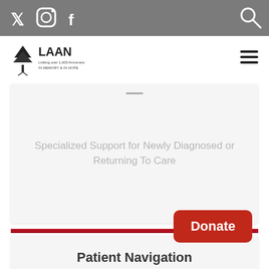Twitter Instagram Facebook [Search]
[Figure (logo): LAAN organization logo with tree graphic and text 'LAAN - In Memory & In Hope']
Specialized Support for Newly Diagnosed or Returning To Care
Patient Navigation